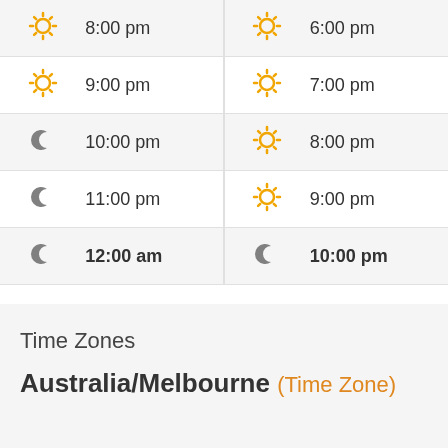| ☀ | 8:00 pm | ☀ | 6:00 pm |
| ☀ | 9:00 pm | ☀ | 7:00 pm |
| ☾ | 10:00 pm | ☀ | 8:00 pm |
| ☾ | 11:00 pm | ☀ | 9:00 pm |
| ☾ | 12:00 am | ☾ | 10:00 pm |
Time Zones
Australia/Melbourne (Time Zone)